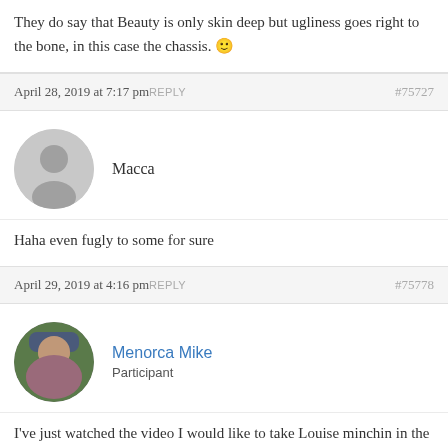They do say that Beauty is only skin deep but ugliness goes right to the bone, in this case the chassis. 🙂
April 28, 2019 at 7:17 pm REPLY #75727
Macca
Haha even fugly to some for sure
April 29, 2019 at 4:16 pm REPLY #75778
Menorca Mike
Participant
I've just watched the video I would like to take Louise minchin in the same countryside for a picnic on a warm